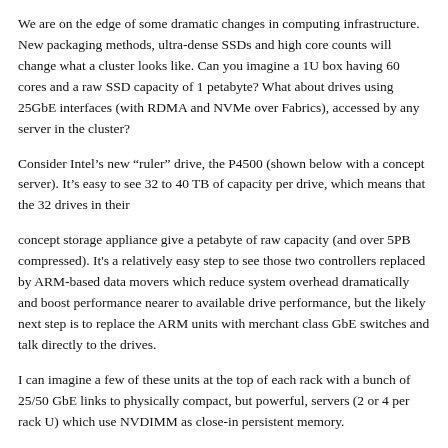We are on the edge of some dramatic changes in computing infrastructure. New packaging methods, ultra-dense SSDs and high core counts will change what a cluster looks like. Can you imagine a 1U box having 60 cores and a raw SSD capacity of 1 petabyte? What about drives using 25GbE interfaces (with RDMA and NVMe over Fabrics), accessed by any server in the cluster?
Consider Intel’s new “ruler” drive, the P4500 (shown below with a concept server). It’s easy to see 32 to 40 TB of capacity per drive, which means that the 32 drives in their
concept storage appliance give a petabyte of raw capacity (and over 5PB compressed). It's a relatively easy step to see those two controllers replaced by ARM-based data movers which reduce system overhead dramatically and boost performance nearer to available drive performance, but the likely next step is to replace the ARM units with merchant class GbE switches and talk directly to the drives.
I can imagine a few of these units at the top of each rack with a bunch of 25/50 GbE links to physically compact, but powerful, servers (2 or 4 per rack U) which use NVDIMM as close-in persistent memory.
The clear benefit is that admins can react to the changing needs of the cluster for performance and bulk storage independently of the compute horsepower deployed. This is very important as storage moves from low-